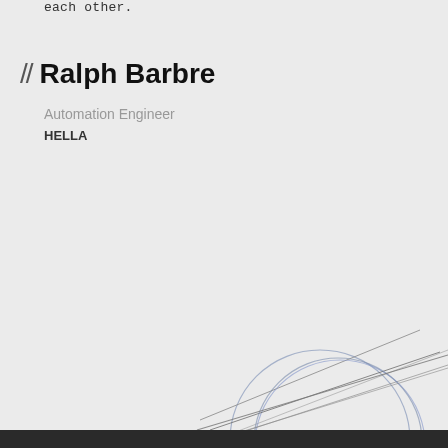each other.
// Ralph Barbre
Automation Engineer
HELLA
[Figure (illustration): Decorative geometric illustration: a thin-lined circle with two parallel diagonal lines passing through and extending far beyond it, creating a needle-through-ring effect. Lines run from upper-right to lower-left area of the page. Circle is in the upper-right quadrant, approximately centered at (880, 480) in the original scale.]